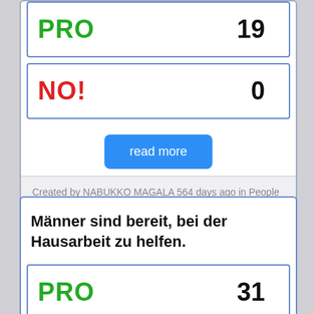| Vote | Count |
| --- | --- |
| PRO | 19 |
| NO! | 0 |
read more
Created by NABUKKO MAGALA 564 days ago in People
Männer sind bereit, bei der Hausarbeit zu helfen.
| Vote | Count |
| --- | --- |
| PRO | 31 |
| NO! | 1 |